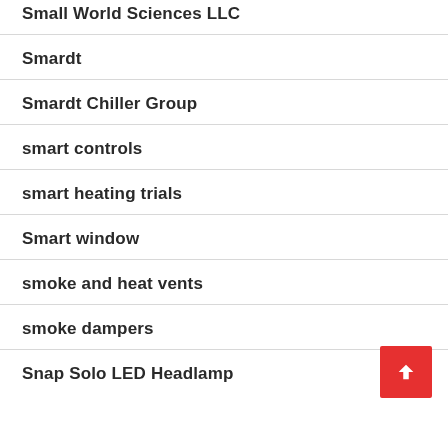Small World Sciences LLC
Smardt
Smardt Chiller Group
smart controls
smart heating trials
Smart window
smoke and heat vents
smoke dampers
Snap Solo LED Headlamp